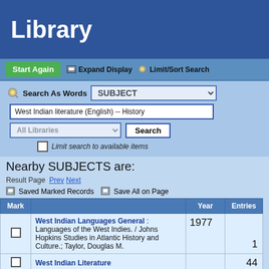Library
Start Again  Expand Display  Limit/Sort Search
Search As Words  SUBJECT  West Indian literature (English) -- History  All Libraries  Search  Limit search to available items
Nearby SUBJECTS are:
Result Page  Prev  Next
Saved Marked Records  Save All on Page
| Mark |  | Year | Entries |
| --- | --- | --- | --- |
|  | West Indian Languages General : Languages of the West Indies. / Johns Hopkins Studies in Atlantic History and Culture.; Taylor, Douglas M. | 1977 | 1 |
|  | West Indian Literature |  | 44 |